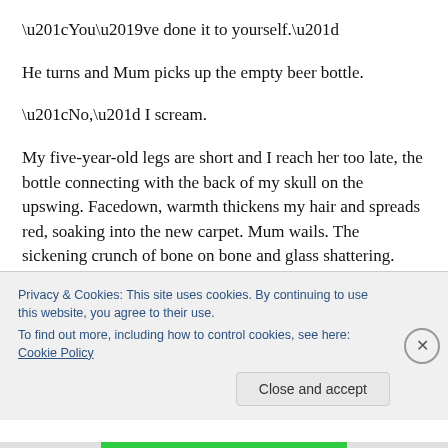“You’ve done it to yourself.”
He turns and Mum picks up the empty beer bottle.
“No,” I scream.
My five-year-old legs are short and I reach her too late, the bottle connecting with the back of my skull on the upswing. Facedown, warmth thickens my hair and spreads red, soaking into the new carpet. Mum wails. The sickening crunch of bone on bone and glass shattering. Mum’s eyes unblinking, staring into mine. The night closing in on me.
Privacy & Cookies: This site uses cookies. By continuing to use this website, you agree to their use.
To find out more, including how to control cookies, see here: Cookie Policy
Close and accept